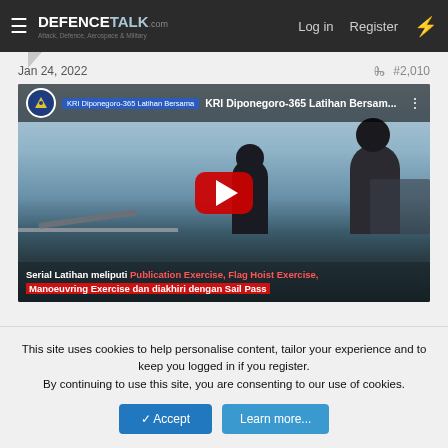DEFENCETALK.com — Log in | Register
Jan 24, 2022   #2,010
[Figure (screenshot): YouTube video thumbnail showing KRI Diponegoro-365 Latihan Bersama (joint military exercise), featuring Indonesian navy personnel on deck of a warship at sea, with red YouTube play button overlay. Bottom caption reads: Serial Latihan meliputi Publication Exercise, Flag Hoist Exercise, Manoeuvring Exercise dan diakhiri dengan Sail Pass]
This site uses cookies to help personalise content, tailor your experience and to keep you logged in if you register. By continuing to use this site, you are consenting to our use of cookies.